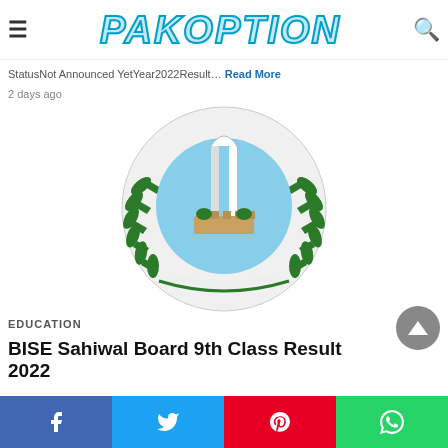PAKOPTION
StatusNot Announced YetYear2022Result… Read More
2 days ago
[Figure (logo): Circular emblem/logo with green laurel wreath border, blue sky and monument/arch in center, white and green design — appears to be a Pakistani educational board logo]
EDUCATION
BISE Sahiwal Board 9th Class Result 2022